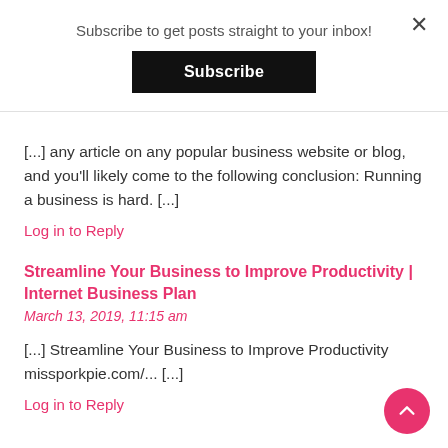Subscribe to get posts straight to your inbox!
Subscribe
[...] any article on any popular business website or blog, and you'll likely come to the following conclusion: Running a business is hard. [...]
Log in to Reply
Streamline Your Business to Improve Productivity | Internet Business Plan
March 13, 2019, 11:15 am
[...] Streamline Your Business to Improve Productivity missporkpie.com/... [...]
Log in to Reply